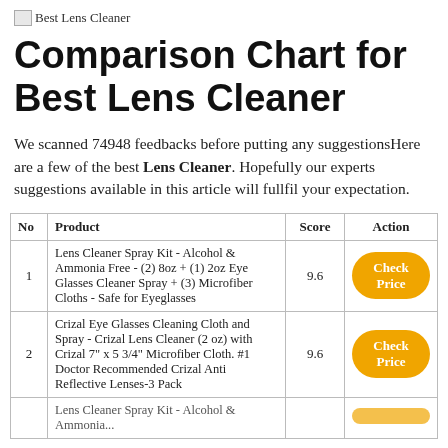[Figure (logo): Best Lens Cleaner logo with broken image icon and text]
Comparison Chart for Best Lens Cleaner
We scanned 74948 feedbacks before putting any suggestionsHere are a few of the best Lens Cleaner. Hopefully our experts suggestions available in this article will fullfil your expectation.
| No | Product | Score | Action |
| --- | --- | --- | --- |
| 1 | Lens Cleaner Spray Kit - Alcohol & Ammonia Free - (2) 8oz + (1) 2oz Eye Glasses Cleaner Spray + (3) Microfiber Cloths - Safe for Eyeglasses | 9.6 | Check Price |
| 2 | Crizal Eye Glasses Cleaning Cloth and Spray - Crizal Lens Cleaner (2 oz) with Crizal 7" x 5 3/4" Microfiber Cloth. #1 Doctor Recommended Crizal Anti Reflective Lenses-3 Pack | 9.6 | Check Price |
| 3 | Lens Cleaner Spray Kit - Alcohol & Ammonia... |  | Check Price |